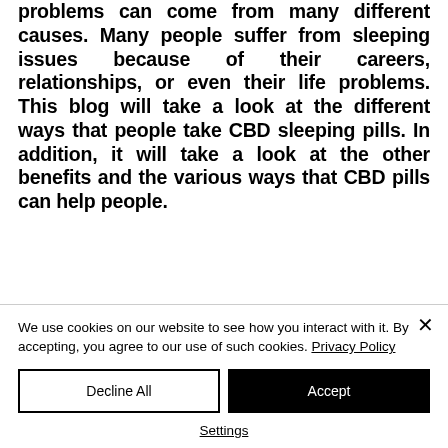problems can come from many different causes. Many people suffer from sleeping issues because of their careers, relationships, or even their life problems. This blog will take a look at the different ways that people take CBD sleeping pills. In addition, it will take a look at the other benefits and the various ways that CBD pills can help people.
We use cookies on our website to see how you interact with it. By accepting, you agree to our use of such cookies. Privacy Policy
Decline All
Accept
Settings